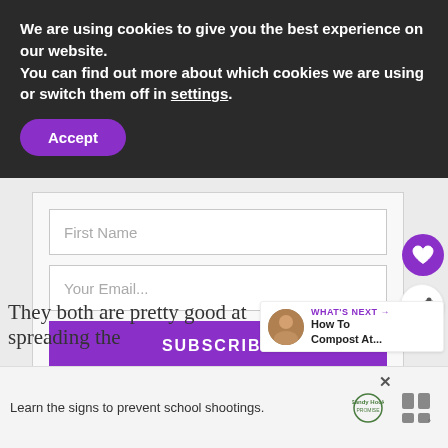We are using cookies to give you the best experience on our website.
You can find out more about which cookies we are using or switch them off in settings.
Accept
First Name
Your Email...
SUBSCRIBE
I consent to receiving emails and personalized ads
WHAT'S NEXT → How To Compost At...
They both are pretty good at spreading the
Learn the signs to prevent school shootings.